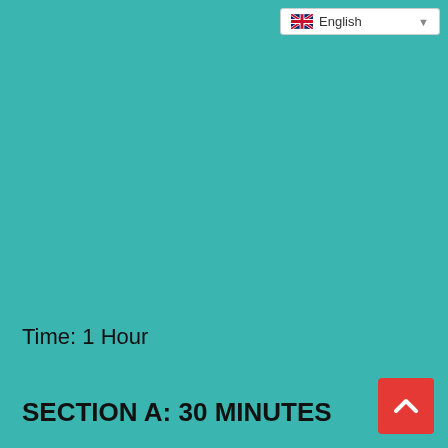[Figure (screenshot): Language selector dropdown showing UK flag and 'English' text with dropdown arrow]
Time: 1 Hour
SECTION A: 30 MINUTES
[Figure (illustration): Red square button with white upward chevron arrow (back to top button)]